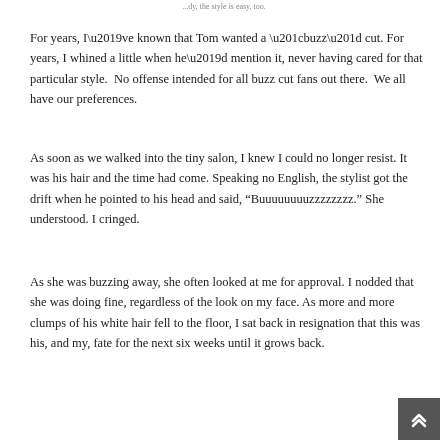...dy, the style is easy, too.
For years, I’ve known that Tom wanted a “buzz” cut. For years, I whined a little when he’d mention it, never having cared for that particular style.  No offense intended for all buzz cut fans out there.  We all have our preferences.
As soon as we walked into the tiny salon, I knew I could no longer resist. It was his hair and the time had come. Speaking no English, the stylist got the drift when he pointed to his head and said, “Buuuuuuuuzzzzzzz.” She understood. I cringed.
As she was buzzing away, she often looked at me for approval. I nodded that she was doing fine, regardless of the look on my face. As more and more clumps of his white hair fell to the floor, I sat back in resignation that this was his, and my, fate for the next six weeks until it grows back.